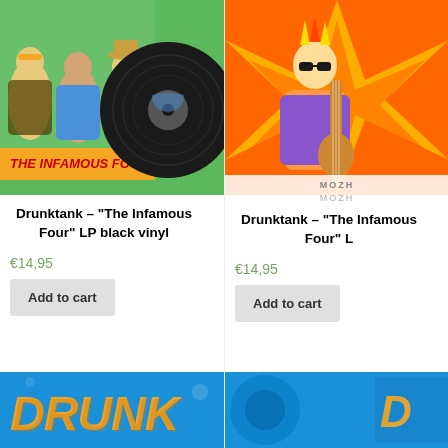[Figure (illustration): Album cover for Drunktank – The Infamous Four LP black vinyl. Comic-style illustration of three characters with a large black vinyl record.]
Drunktank – “The Infamous Four” LP black vinyl
€14,95
Add to cart
[Figure (illustration): Partial album cover for Drunktank – The Infamous Four LP, showing a second colorful comic-style illustration with explosion motif and partially visible text MOZH.]
Drunktank – “The Infamous Four” L
€14,95
Add to cart
[Figure (illustration): Bottom partial album art left – blue background with orange stylized text, partially cropped.]
[Figure (illustration): Bottom partial album art right – blue background, partially cropped.]